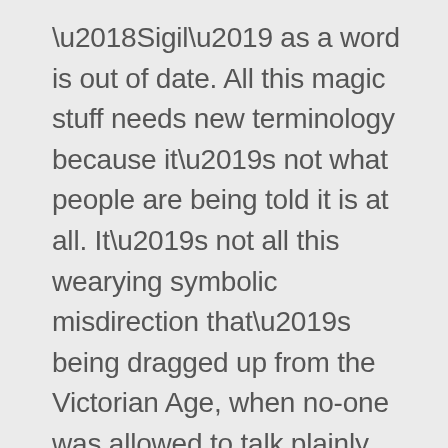'Sigil' as a word is out of date. All this magic stuff needs new terminology because it's not what people are being told it is at all. It's not all this wearying symbolic misdirection that's being dragged up from the Victorian Age, when no-one was allowed to talk plainly and everything was in coy poetic code. The world's at a crisis point and it's time to stop bullshitting around with Qabalah and Thelema and Chaos and Information and all the rest of the metaphoric smoke and mirrors designed to make the rubes think